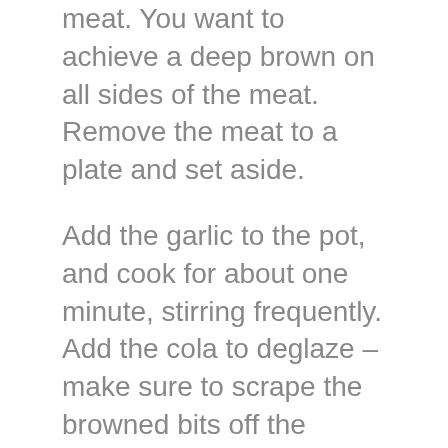meat. You want to achieve a deep brown on all sides of the meat. Remove the meat to a plate and set aside.
Add the garlic to the pot, and cook for about one minute, stirring frequently. Add the cola to deglaze – make sure to scrape the browned bits off the bottom of the pot using a wooden spoon. Add the Worcestershire sauce and coffee granules.
Add onions back to the pot, spreading so that they cover the whole bottom. Add the meat back to the pot, placing it on top of the onions. Add the herb bundle, then the carrots, and pour enough stock to come halfway up the meat.
Give it a quick taste – is it delicious? Yay! Is it not